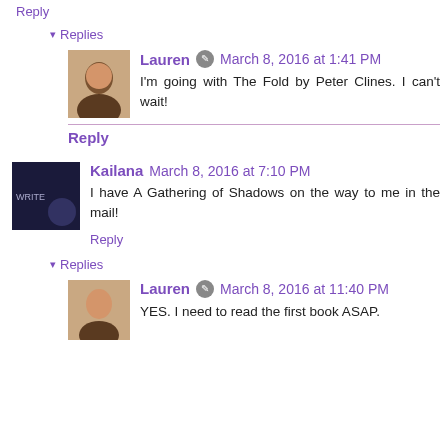what are you going to read next.
Reply
▾ Replies
Lauren 🖊 March 8, 2016 at 1:41 PM
I'm going with The Fold by Peter Clines. I can't wait!
Reply
Kailana March 8, 2016 at 7:10 PM
I have A Gathering of Shadows on the way to me in the mail!
Reply
▾ Replies
Lauren 🖊 March 8, 2016 at 11:40 PM
YES. I need to read the first book ASAP.